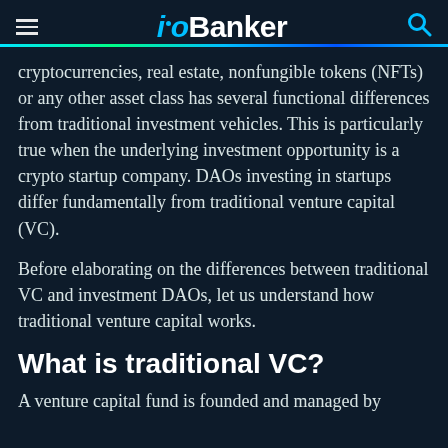ioBanker
cryptocurrencies, real estate, nonfungible tokens (NFTs) or any other asset class has several functional differences from traditional investment vehicles. This is particularly true when the underlying investment opportunity is a crypto startup company. DAOs investing in startups differ fundamentally from traditional venture capital (VC).
Before elaborating on the differences between traditional VC and investment DAOs, let us understand how traditional venture capital works.
What is traditional VC?
A venture capital fund is founded and managed by